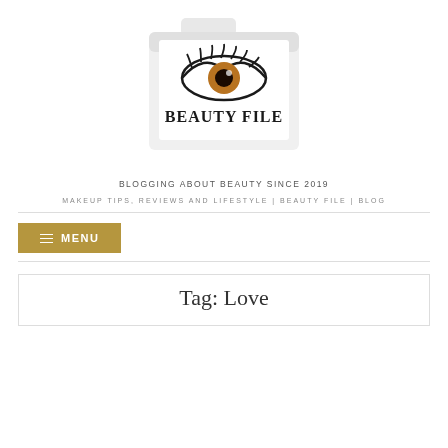[Figure (logo): Beauty File blog logo: a folder graphic with an eye illustration and the text BEAUTY FILE, with subtitle BLOGGING ABOUT BEAUTY SINCE 2019]
MAKEUP TIPS, REVIEWS AND LIFESTYLE | BEAUTY FILE | BLOG
≡ MENU
Tag: Love